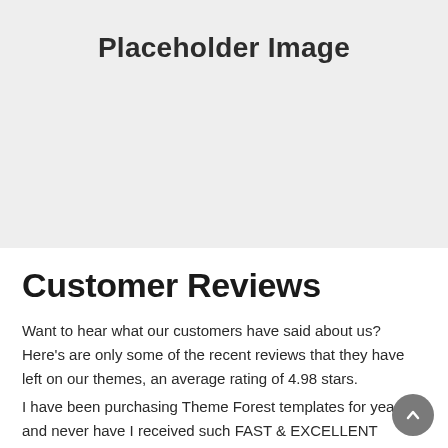[Figure (other): Gray placeholder image box with bold centered text reading 'Placeholder Image']
Customer Reviews
Want to hear what our customers have said about us? Here's are only some of the recent reviews that they have left on our themes, an average rating of 4.98 stars.
I have been purchasing Theme Forest templates for years and never have I received such FAST & EXCELLENT SUPPORT. They are